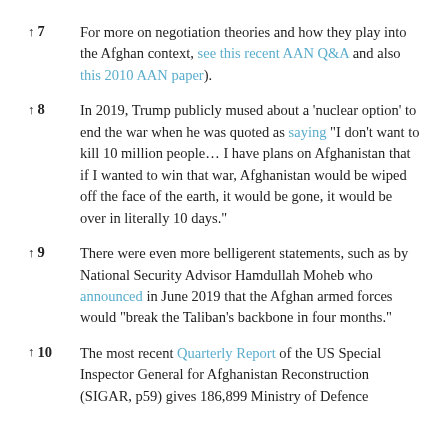↑7  For more on negotiation theories and how they play into the Afghan context, see this recent AAN Q&A and also this 2010 AAN paper).
↑8  In 2019, Trump publicly mused about a 'nuclear option' to end the war when he was quoted as saying "I don't want to kill 10 million people…I have plans on Afghanistan that if I wanted to win that war, Afghanistan would be wiped off the face of the earth, it would be gone, it would be over in literally 10 days."
↑9  There were even more belligerent statements, such as by National Security Advisor Hamdullah Moheb who announced in June 2019 that the Afghan armed forces would "break the Taliban's backbone in four months."
↑10  The most recent Quarterly Report of the US Special Inspector General for Afghanistan Reconstruction (SIGAR, p59) gives 186,899 Ministry of Defence